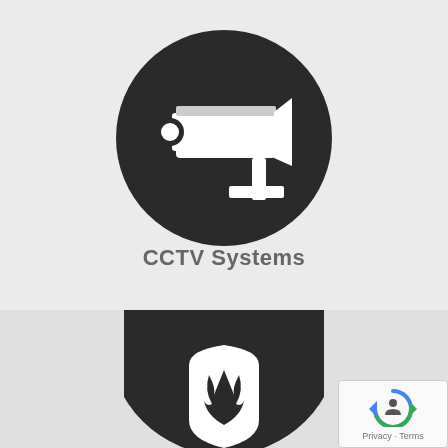[Figure (illustration): Dark circular icon with a white CCTV surveillance camera silhouette on a light grey background]
CCTV Systems
[Figure (illustration): Dark circular icon with a white fire/flame shield symbol, partially visible, on a slightly darker grey background section]
[Figure (logo): Google reCAPTCHA badge in bottom right corner with Privacy and Terms links]